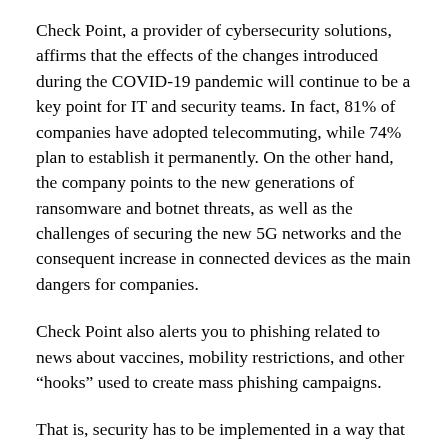Check Point, a provider of cybersecurity solutions, affirms that the effects of the changes introduced during the COVID-19 pandemic will continue to be a key point for IT and security teams. In fact, 81% of companies have adopted telecommuting, while 74% plan to establish it permanently. On the other hand, the company points to the new generations of ransomware and botnet threats, as well as the challenges of securing the new 5G networks and the consequent increase in connected devices as the main dangers for companies.
Check Point also alerts you to phishing related to news about vaccines, mobility restrictions, and other “hooks” used to create mass phishing campaigns.
That is, security has to be implemented in a way that is independent of location. This trend is related to the following.